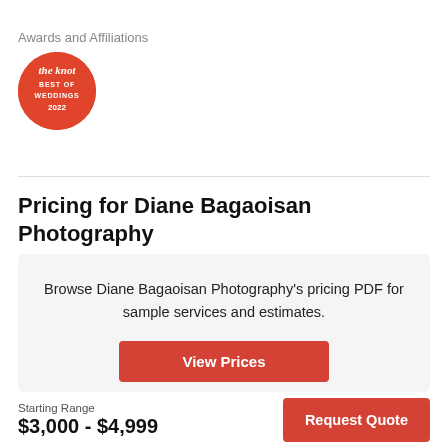Awards and Affiliations
[Figure (logo): The Knot Best of Weddings 2022 badge — red circle with white text]
Pricing for Diane Bagaoisan Photography
Browse Diane Bagaoisan Photography's pricing PDF for sample services and estimates.
View Prices
Starting Range
$3,000 - $4,999
Request Quote